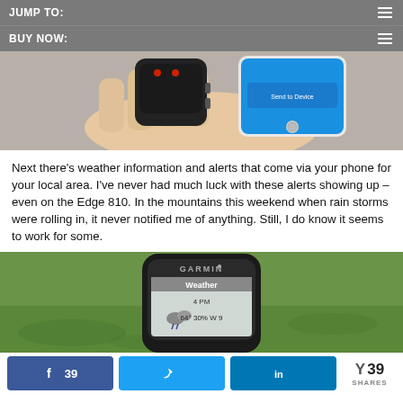JUMP TO:
BUY NOW:
[Figure (photo): Hand holding a Garmin GPS device next to a smartphone showing 'Send to Device' screen]
Next there's weather information and alerts that come via your phone for your local area.  I've never had much luck with these alerts showing up – even on the Edge 810.  In the mountains this weekend when rain storms were rolling in, it never notified me of anything.  Still, I do know it seems to work for some.
[Figure (photo): Garmin Edge device displaying Weather screen showing 4 PM, 64°, 30%, W 9]
39 shares via Facebook, Twitter, LinkedIn